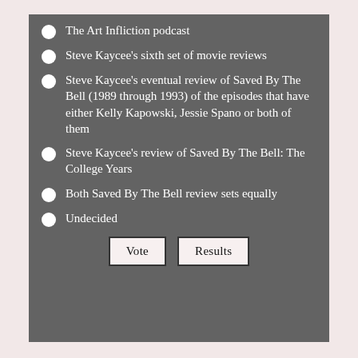The Art Infliction podcast
Steve Kaycee's sixth set of movie reviews
Steve Kaycee's eventual review of Saved By The Bell (1989 through 1993) of the episodes that have either Kelly Kapowski, Jessie Spano or both of them
Steve Kaycee's review of Saved By The Bell: The College Years
Both Saved By The Bell review sets equally
Undecided